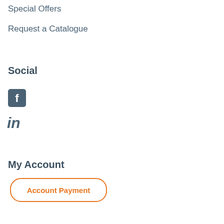Special Offers
Request a Catalogue
Social
[Figure (logo): Facebook icon - square blue/grey icon with white letter f]
[Figure (logo): LinkedIn icon - grey 'in' text logo]
My Account
Account Payment